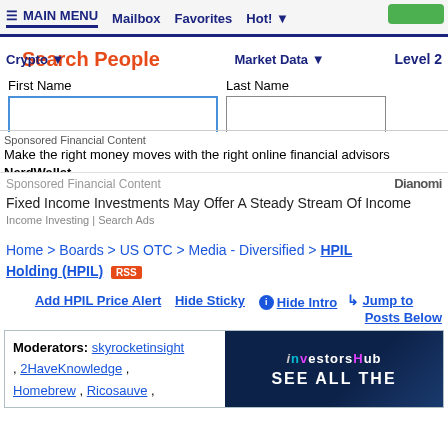≡ MAIN MENU   Mailbox   Favorites   Hot!
Search People
First Name  Last Name
Sponsored Financial Content
Make the right money moves with the right online financial advisors NerdWallet
Sponsored Financial Content  Dianomi
Fixed Income Investments May Offer A Steady Stream Of Income
Income Investing | Search Ads
Home > Boards > US OTC > Media - Diversified > HPIL Holding (HPIL) RSS
Add HPIL Price Alert   Hide Sticky   ℹ Hide Intro   ↓ Jump to Posts Below
Moderators: skyrocketinsight , 2HaveKnowledge , Homebrew , Ricosauve ,
[Figure (screenshot): InvestorsHub advertisement banner with dark blue background showing logo and 'SEE ALL THE' text]